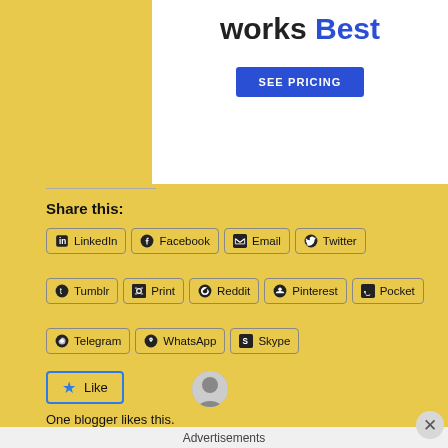[Figure (screenshot): Advertisement banner with text 'works Best' in bold with 'Best' in blue, and a blue 'SEE PRICING' button on white background]
Share this:
LinkedIn
Facebook
Email
Twitter
Tumblr
Print
Reddit
Pinterest
Pocket
Telegram
WhatsApp
Skype
One blogger likes this.
Advertisements
[Figure (screenshot): DuckDuckGo advertisement banner: Search, browse, and email with more privacy. All in One Free App. Orange background with DuckDuckGo logo.]